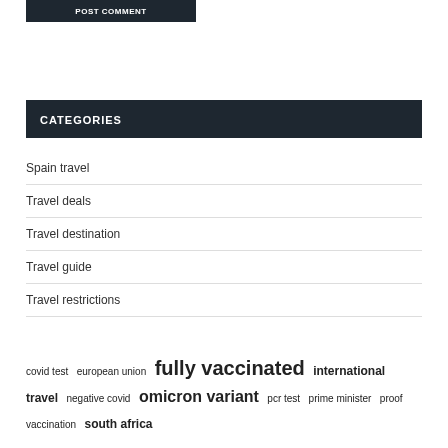POST COMMENT
CATEGORIES
Spain travel
Travel deals
Travel destination
Travel guide
Travel restrictions
covid test  european union  fully vaccinated  international travel  negative covid  omicron variant  pcr test  prime minister  proof vaccination  south africa